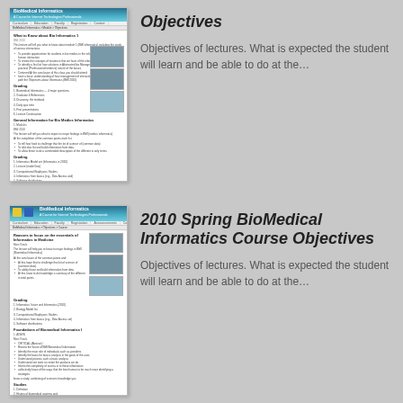[Figure (screenshot): Thumbnail screenshot of a BioMedical Informatics course webpage showing navigation menu, course sections, objectives, and small images]
Objectives
Objectives of lectures. What is expected the student will learn and be able to do at the...
[Figure (screenshot): Thumbnail screenshot of 2010 Spring BioMedical Informatics course webpage with navigation, course objectives, sections on Foundations of Biomedical Informatics, and lecture listings]
2010 Spring BioMedical Informatics Course Objectives
Objectives of lectures. What is expected the student will learn and be able to do at the...